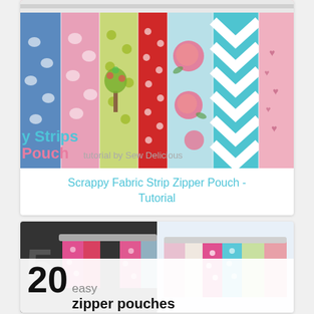[Figure (photo): A scrappy fabric strip zipper pouch made from colorful patchwork fabric strips including pink elephants, green dots, red polka dots, floral roses, teal chevron, and pink heart patterns. Text overlay reads 'y Strips Pouch tutorial by Sew Delicious'.]
Scrappy Fabric Strip Zipper Pouch - Tutorial
[Figure (photo): Two thumbnail photos side by side showing colorful patchwork zipper pouches. Left thumbnail shows a pouch with pink, dark, and polka dot fabrics. Right thumbnail shows a pouch with teal, pink, and green pastel fabrics. Below is large text reading '20 easy zipper pouches'.]